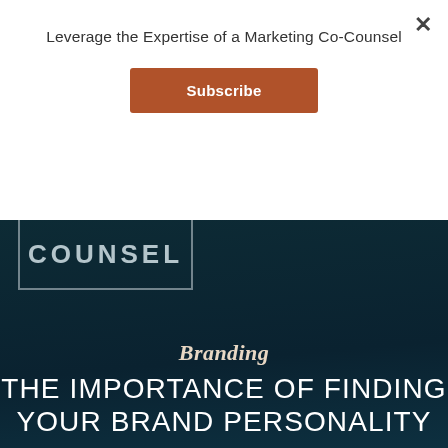Leverage the Expertise of a Marketing Co-Counsel
Subscribe
[Figure (logo): COUNSEL logo in outlined box on dark teal background]
Branding
THE IMPORTANCE OF FINDING YOUR BRAND PERSONALITY